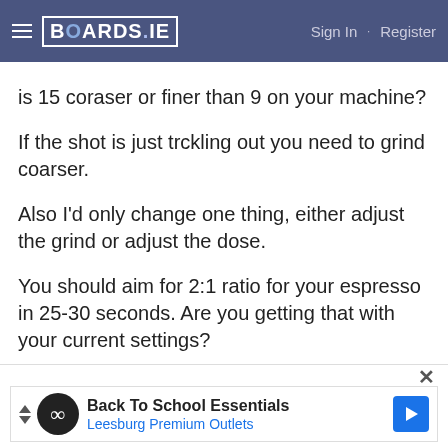BOARDS.IE  Sign In · Register
is 15 coraser or finer than 9 on your machine?
If the shot is just trckling out you need to grind coarser.
Also I'd only change one thing, either adjust the grind or adjust the dose.
You should aim for 2:1 ratio for your espresso in 25-30 seconds. Are you getting that with your current settings?
[Figure (illustration): Pixel art avatar of Tigger character from Winnie the Pooh]
Silver-Tiger
Registered Users
Posts: 902 ★★★
[Figure (screenshot): Advertisement banner: Back To School Essentials - Leesburg Premium Outlets]